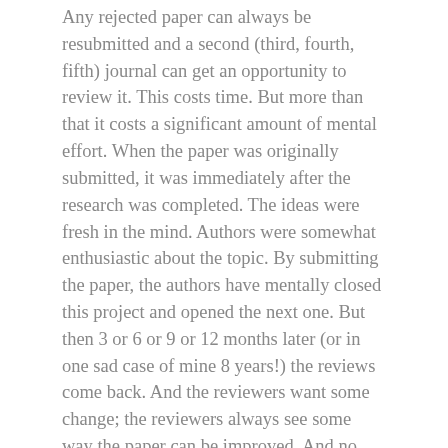Any rejected paper can always be resubmitted and a second (third, fourth, fifth) journal can get an opportunity to review it. This costs time. But more than that it costs a significant amount of mental effort. When the paper was originally submitted, it was immediately after the research was completed. The ideas were fresh in the mind. Authors were somewhat enthusiastic about the topic. By submitting the paper, the authors have mentally closed this project and opened the next one. But then 3 or 6 or 9 or 12 months later (or in one sad case of mine 8 years!) the reviews come back. And the reviewers want some change; the reviewers always see some way the paper can be improved. And no doubt in a perfect world with infinite time in a day, we would agree not only that this is an improvement, but that it is worth doing.
But instead, we are apathetic or antagonistic or busy with